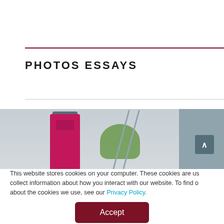PHOTOS ESSAYS
[Figure (photo): A person wearing a pink shirt, baseball cap, and face mask, working on a building exterior with a ladder and trees visible in the background. Another person in gray shirt visible on the right side.]
This website stores cookies on your computer. These cookies are us collect information about how you interact with our website. To find o about the cookies we use, see our Privacy Policy.
Accept